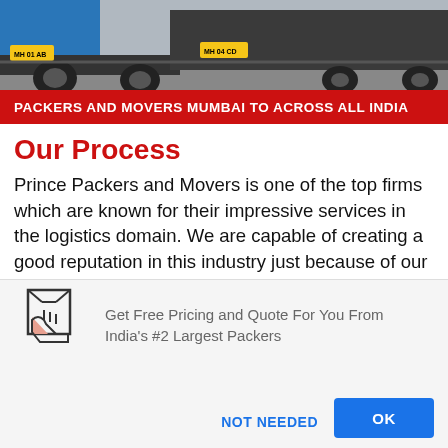[Figure (photo): Partial view of a truck/vehicle front axle and tires on a road, blue cab visible]
PACKERS AND MOVERS MUMBAI TO ACROSS ALL INDIA
Our Process
Prince Packers and Movers is one of the top firms which are known for their impressive services in the logistics domain. We are capable of creating a good reputation in this industry just because of our well-organized and refined services. So, when it comes to the overall work process, we are utilizing top-notch services. Because of this, we are capable of producing our
[Figure (illustration): Icon of a box with a hand/cursor pointing at it]
Get Free Pricing and Quote For You From India's #2 Largest Packers
NOT NEEDED
OK